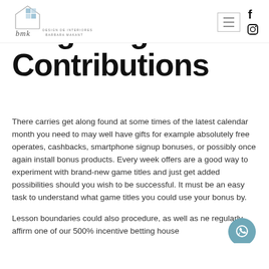[Figure (logo): BMK Design de Interiores Barbara Makant logo with house outline and grid squares]
Wagering Contributions
There carries get along found at some times of the latest calendar month you need to may well have gifts for example absolutely free operates, cashbacks, smartphone signup bonuses, or possibly once again install bonus products. Every week offers are a good way to experiment with brand-new game titles and just get added possibilities should you wish to be successful. It must be an easy task to understand what game titles you could use your bonus by.
Lesson boundaries could also procedure, as well as ne regularly affirm one of our 500% incentive betting house